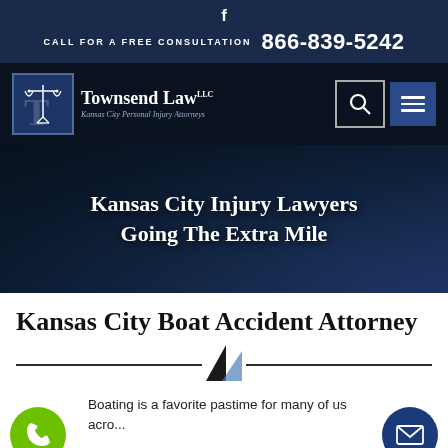f
CALL FOR A FREE CONSULTATION 866-839-5242
[Figure (logo): Townsend Law LLC logo with scales of justice icon, Kansas City Personal Injury Attorneys]
Kansas City Injury Lawyers Going The Extra Mile
Kansas City Boat Accident Attorney
Boating is a favorite pastime for many of us acro...